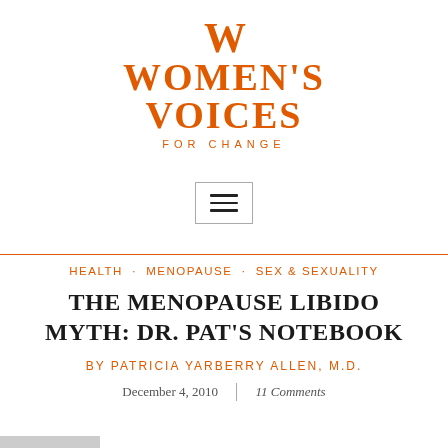[Figure (logo): Women's Voices for Change logo in orange with stylized W above the text]
[Figure (other): Hamburger menu button icon with three horizontal lines inside a rectangular border]
HEALTH · MENOPAUSE · SEX & SEXUALITY
THE MENOPAUSE LIBIDO MYTH: DR. PAT'S NOTEBOOK
BY PATRICIA YARBERRY ALLEN, M.D.
December 4, 2010   |   11 Comments